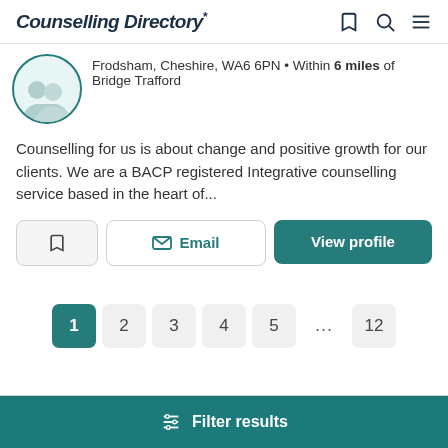Counselling Directory*
Frodsham, Cheshire, WA6 6PN • Within 6 miles of Bridge Trafford
Counselling for us is about change and positive growth for our clients. We are a BACP registered Integrative counselling service based in the heart of...
Email  View profile
1  2  3  4  5  ...  12
Filter results